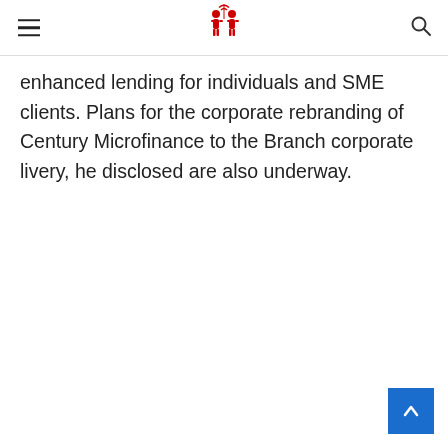[Navigation header with hamburger menu, logo, and search icon]
enhanced lending for individuals and SME clients. Plans for the corporate rebranding of Century Microfinance to the Branch corporate livery, he disclosed are also underway.